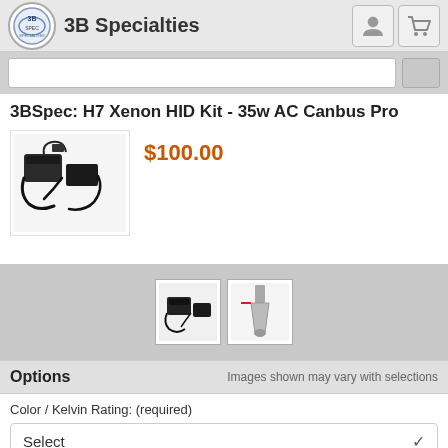3B Specialties
3BSpec: H7 Xenon HID Kit - 35w AC Canbus Pro
$100.00
[Figure (photo): Product photo of H7 Xenon HID Kit components including ballasts and wiring]
[Figure (photo): Thumbnail image of HID kit ballast component]
[Figure (photo): Thumbnail image of HID bulb]
Options
Images shown may vary with selections
Color / Kelvin Rating: (required)
Select